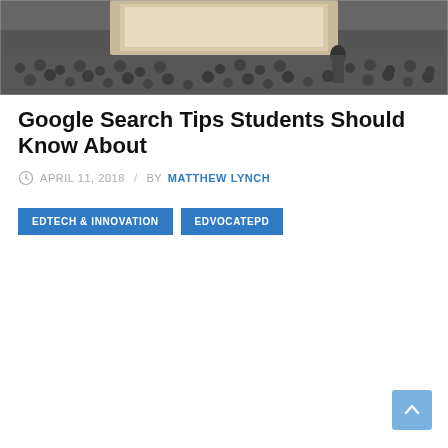[Figure (photo): A photo of a large audience in a dark auditorium, with a bright projection screen at the front and a presenter silhouette visible on stage.]
Google Search Tips Students Should Know About
APRIL 11, 2018 / BY MATTHEW LYNCH
EDTECH & INNOVATION | EDVOCATEPD